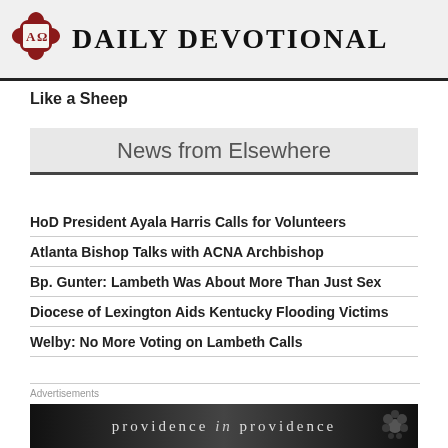Daily Devotional
Like a Sheep
News from Elsewhere
HoD President Ayala Harris Calls for Volunteers
Atlanta Bishop Talks with ACNA Archbishop
Bp. Gunter: Lambeth Was About More Than Just Sex
Diocese of Lexington Aids Kentucky Flooding Victims
Welby: No More Voting on Lambeth Calls
Advertisements
[Figure (other): Providence in Providence advertisement banner with dark gradient background and decorative floral element]